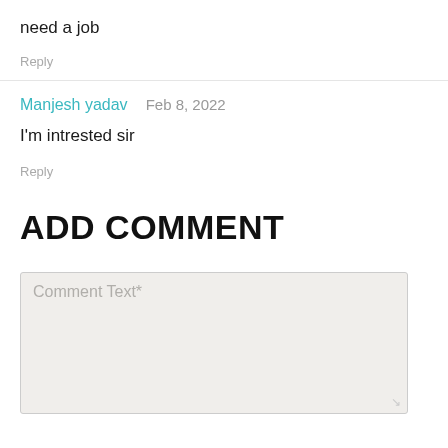need a job
Reply
Manjesh yadav   Feb 8, 2022
I'm intrested sir
Reply
ADD COMMENT
Comment Text*